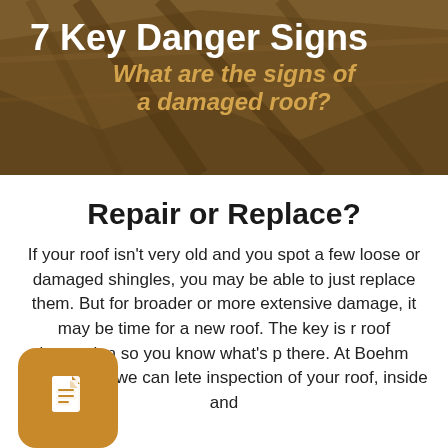[Figure (illustration): Background photo of a house roof/ceiling structure with warm brown wooden tones, partially obscured by a dark overlay]
7 Key Danger Signs
What are the signs of a damaged roof?
Repair or Replace?
If your roof isn't very old and you spot a few loose or damaged shingles, you may be able to just replace them. But for broader or more extensive damage, it may be time for a new roof. The key is r roof inspection so you know what's p there. At Boehm Roofing LLc we can lete inspection of your roof, inside and
[Figure (logo): Gold/tan rounded square icon badge containing a white document/page icon]